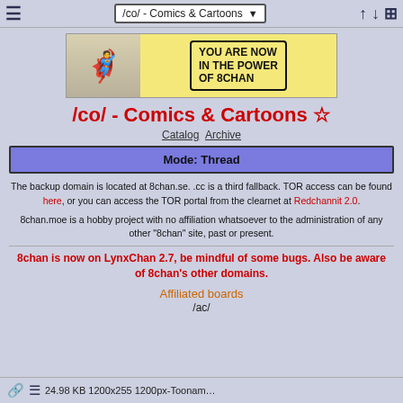/co/ - Comics & Cartoons
[Figure (illustration): Banner image: muscular comic character on left, speech bubble on right reading 'YOU ARE NOW IN THE POWER OF 8CHAN']
/co/ - Comics & Cartoons ☆
Catalog Archive
Mode: Thread
The backup domain is located at 8chan.se. .cc is a third fallback. TOR access can be found here, or you can access the TOR portal from the clearnet at Redchannit 2.0.
8chan.moe is a hobby project with no affiliation whatsoever to the administration of any other "8chan" site, past or present.
8chan is now on LynxChan 2.7, be mindful of some bugs. Also be aware of 8chan's other domains.
Affiliated boards
/ac/
24.98 KB 1200x255 1200px-Toonam…